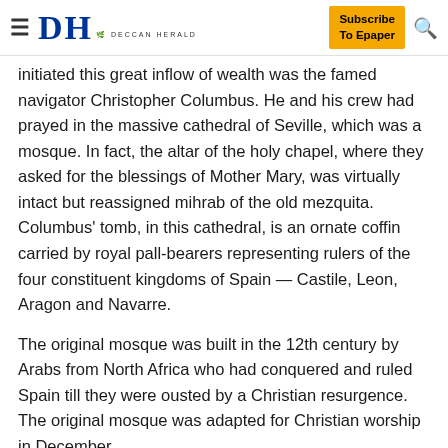Deccan Herald — Subscribe To Epaper
initiated this great inflow of wealth was the famed navigator Christopher Columbus. He and his crew had prayed in the massive cathedral of Seville, which was a mosque. In fact, the altar of the holy chapel, where they asked for the blessings of Mother Mary, was virtually intact but reassigned mihrab of the old mezquita. Columbus' tomb, in this cathedral, is an ornate coffin carried by royal pall-bearers representing rulers of the four constituent kingdoms of Spain — Castile, Leon, Aragon and Navarre.
The original mosque was built in the 12th century by Arabs from North Africa who had conquered and ruled Spain till they were ousted by a Christian resurgence. The original mosque was adapted for Christian worship in December